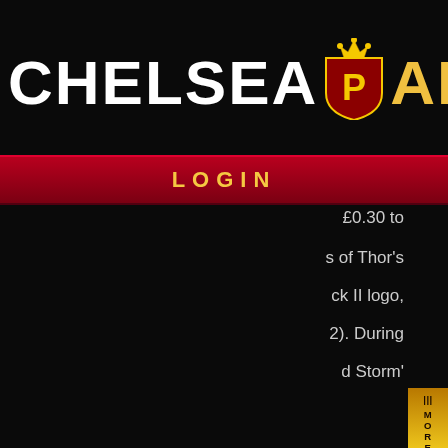[Figure (logo): Chelsea Palace casino logo with shield emblem containing a 'P', crown on top, white text 'CHELSEA' and gold text 'ALACE']
LOGIN
£0.30 to
s of Thor's
ck II logo,
2). During
d Storm'
III MORE GAMES
vmbol that
eature. The
laces other
mbination,
ature, the